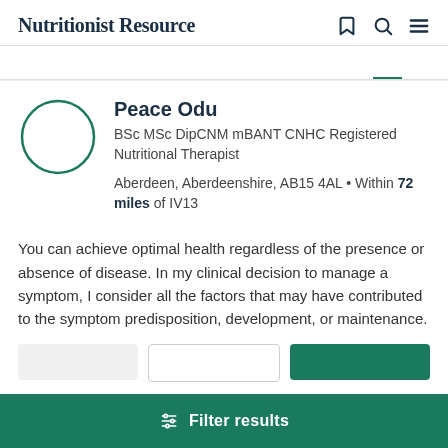Nutritionist Resource
Peace Odu
BSc MSc DipCNM mBANT CNHC Registered Nutritional Therapist
Aberdeen, Aberdeenshire, AB15 4AL • Within 72 miles of IV13
You can achieve optimal health regardless of the presence or absence of disease. In my clinical decision to manage a symptom, I consider all the factors that may have contributed to the symptom predisposition, development, or maintenance.
Filter results